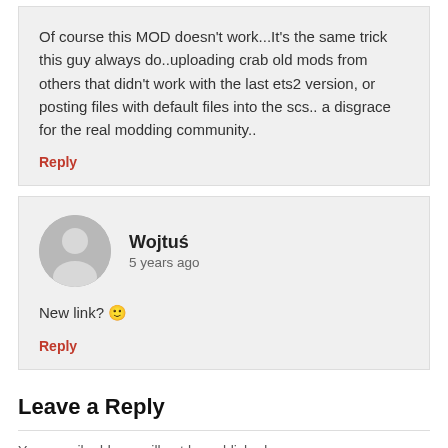Of course this MOD doesn't work...It's the same trick this guy always do..uploading crab old mods from others that didn't work with the last ets2 version, or posting files with default files into the scs.. a disgrace for the real modding community..
Reply
[Figure (illustration): Generic user avatar icon (silhouette of person) in gray circle]
Wojtuś
5 years ago
New link? 🙂
Reply
Leave a Reply
Your email address will not be published.
Comment *